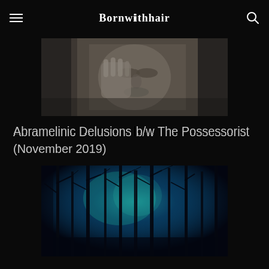Bornwithhair
[Figure (photo): Close-up grayscale photo of a stone statue face, showing detailed carved features including closed eyes and a hand near the face, with textured stonework visible.]
Abramelinic Delusions b/w The Possessorist (November 2019)
[Figure (photo): Dark atmospheric photo of bare tree branches silhouetted against a deep blue and teal glowing sky, creating an eerie forest scene.]